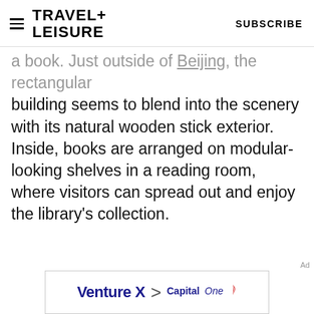TRAVEL+ LEISURE   SUBSCRIBE
a book. Just outside of Beijing, the rectangular building seems to blend into the scenery with its natural wooden stick exterior. Inside, books are arranged on modular-looking shelves in a reading room, where visitors can spread out and enjoy the library's collection.
[Figure (other): Capital One Venture X advertisement banner with text 'Venture X > Capital One']